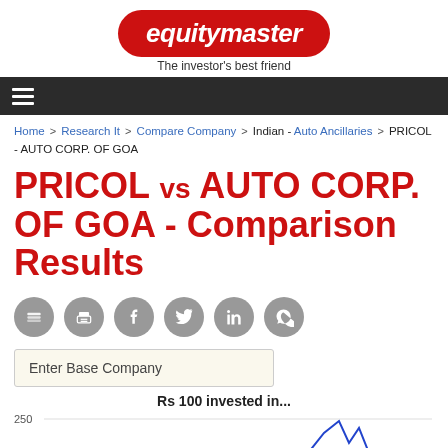[Figure (logo): Equitymaster logo - red pill shape with white italic text 'equitymaster' and tagline 'The investor's best friend']
Home > Research It > Compare Company > Indian - Auto Ancillaries > PRICOL - AUTO CORP. OF GOA
PRICOL vs AUTO CORP. OF GOA - Comparison Results
[Figure (infographic): Six social sharing icons: layers/copy, print, Facebook, Twitter, LinkedIn, WhatsApp]
Enter Base Company
Rs 100 invested in...
[Figure (line-chart): Partial line chart showing investment performance, y-axis label 250 visible, blue line with peak visible at bottom of page]